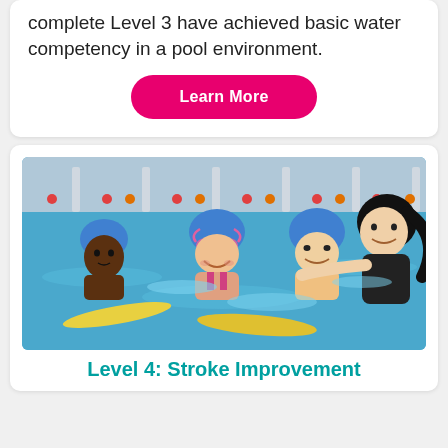complete Level 3 have achieved basic water competency in a pool environment.
[Figure (other): Pink 'Learn More' button with rounded pill shape on white background]
[Figure (photo): Children wearing blue swim caps in a pool being assisted by a female swim instructor. Three children visible, one with pink goggles smiling at camera, using yellow kickboards.]
Level 4: Stroke Improvement